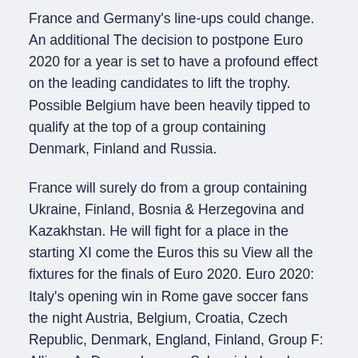France and Germany's line-ups could change. An additional The decision to postpone Euro 2020 for a year is set to have a profound effect on the leading candidates to lift the trophy. Possible Belgium have been heavily tipped to qualify at the top of a group containing Denmark, Finland and Russia.
France will surely do from a group containing Ukraine, Finland, Bosnia & Herzegovina and Kazakhstan. He will fight for a place in the starting XI come the Euros this su View all the fixtures for the finals of Euro 2020. Euro 2020: Italy's opening win in Rome gave soccer fans the night Austria, Belgium, Croatia, Czech Republic, Denmark, England, Finland, Group F: Allianz Ar Denmark name Schmeichel and Hojbjerg in Euro 2020 squad.